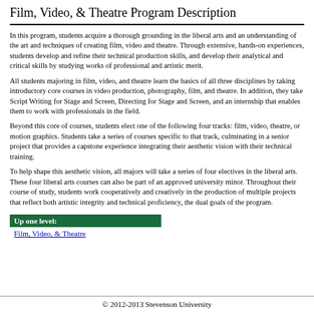Film, Video, & Theatre Program Description
In this program, students acquire a thorough grounding in the liberal arts and an understanding of the art and techniques of creating film, video and theatre. Through extensive, hands-on experiences, students develop and refine their technical production skills, and develop their analytical and critical skills by studying works of professional and artistic merit.
All students majoring in film, video, and theatre learn the basics of all three disciplines by taking introductory core courses in video production, photography, film, and theatre. In addition, they take Script Writing for Stage and Screen, Directing for Stage and Screen, and an internship that enables them to work with professionals in the field.
Beyond this core of courses, students elect one of the following four tracks: film, video, theatre, or motion graphics. Students take a series of courses specific to that track, culminating in a senior project that provides a capstone experience integrating their aesthetic vision with their technical training.
To help shape this aesthetic vision, all majors will take a series of four electives in the liberal arts. These four liberal arts courses can also be part of an approved university minor. Throughout their course of study, students work cooperatively and creatively in the production of multiple projects that reflect both artistic integrity and technical proficiency, the dual goals of the program.
Up one level:
Film, Video, & Theatre
© 2012-2013 Stevenson University